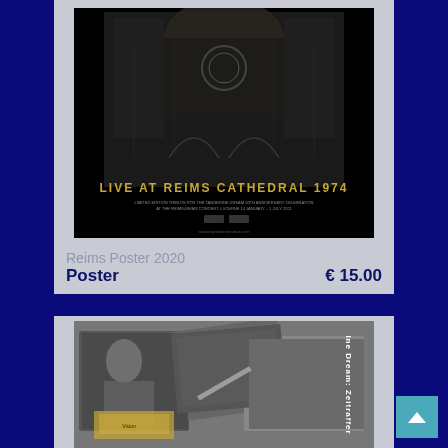[Figure (photo): Product image of 'Live at Reims Cathedral 1974' poster showing a gothic cathedral facade on a black background with gold text]
Reims Poster 2020
Poster                                          € 15.00
[Figure (photo): Product image of 'Tangerine Dream: Zeitraffer' collage showing black and white concert photos and memorabilia with text rotated sideways]